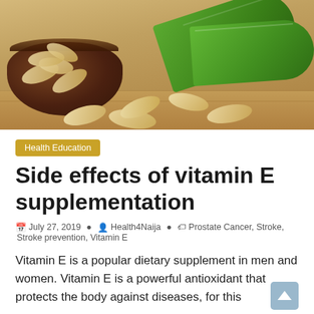[Figure (photo): Photo of herbal/vitamin capsules in a wooden bowl with green leaves on a wooden surface]
Health Education
Side effects of vitamin E supplementation
July 27, 2019 · Health4Naija · Prostate Cancer, Stroke, Stroke prevention, Vitamin E
Vitamin E is a popular dietary supplement in men and women. Vitamin E is a powerful antioxidant that protects the body against diseases, for this